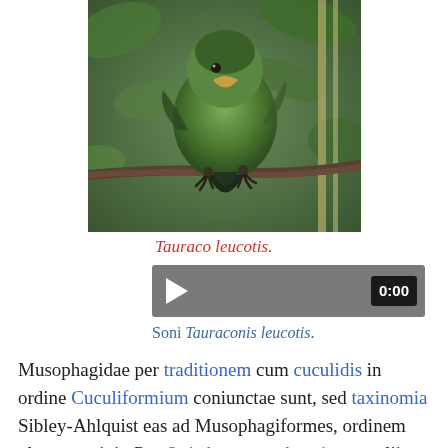[Figure (photo): A green bird (Tauraco leucotis) perched on a branch, viewed from behind, with green foliage in background.]
Tauraco leucotis.
[Figure (other): Audio player widget showing 0:00 timestamp with play button, for Tauraconis leucotis sound.]
Soni Tauraconis leucotis.
Musophagidae per traditionem cum cuculidis in ordine Cuculiformium coniunctae sunt, sed taxinomia Sibley-Ahlquist eas ad Musophagiformes, ordinem plenum, erigit. Per Opisthocomum hoazin cum aliis avibus coniungi possunt,[1] sed haec theoria disputatur.[2] Recentes enodationes geneticae ordinem Musophagiformium